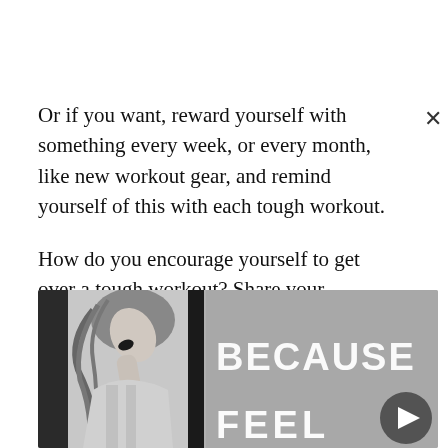Or if you want, reward yourself with something every week, or every month, like new workout gear, and remind yourself of this with each tough workout.

How do you encourage yourself to get over a tough workout? Share your thoughts in the comments below.
[Figure (photo): Black and white photo of a woman with head tilted back, mouth open as if yelling or in exertion. Text overlay on the right side reads 'BECAUSE' and partially 'FEEL'. A dark circular play button icon is visible in the lower right corner.]